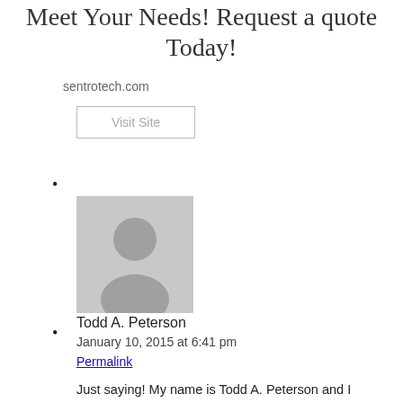Meet Your Needs! Request a quote Today!
sentrotech.com
Visit Site
[Figure (photo): Gray placeholder avatar image of a person silhouette]
Todd A. Peterson
January 10, 2015 at 6:41 pm
Permalink
Just saying! My name is Todd A. Peterson and I consider myself a franchise expert as I have spent over three years trying to figure out HOW (in America) a franchisor can violate the LAWS of a State designed SPECIFICALLY for franchising and not be held accountable for their criminal intent! If anyone needs a witness pursuing the industry of franchising I would GLADLY testify against these criminals for FREE!!! Of course, finding an attorney who will